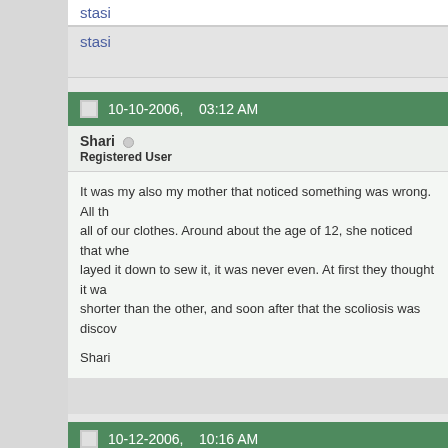stasi
stasi
10-10-2006,    03:12 AM
Shari
Registered User
It was my also my mother that noticed something was wrong. All th... all of our clothes. Around about the age of 12, she noticed that whe... layed it down to sew it, it was never even. At first they thought it wa... shorter than the other, and soon after that the scoliosis was disco...

Shari
10-12-2006,    10:16 AM
LMicB
Registered User